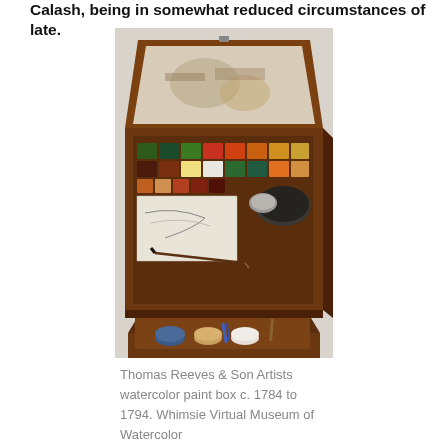Calash, being in somewhat reduced circumstances of late.
[Figure (photo): An open wooden artist's watercolor paint box (Thomas Reeves & Son, c. 1784-1794) with a lid containing a used palette surface, upper compartment holding rows of colorful paint pans in green, red, orange, yellow, brown hues, brushes, a mixing dish, and a lower pull-out drawer with small jars and tools.]
Thomas Reeves & Son Artists watercolor paint box c. 1784 to 1794. Whimsie Virtual Museum of Watercolor